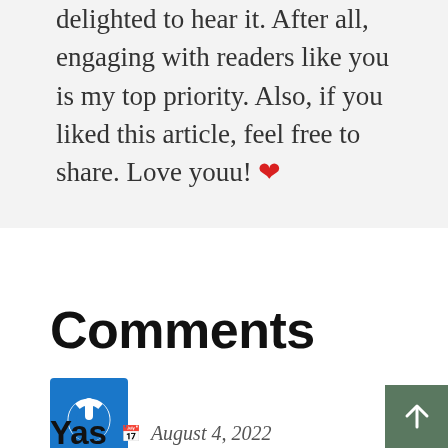delighted to hear it. After all, engaging with readers like you is my top priority. Also, if you liked this article, feel free to share. Love youu! ❤
Comments
[Figure (logo): Blue square avatar with white power button icon]
Yas  August 4, 2022